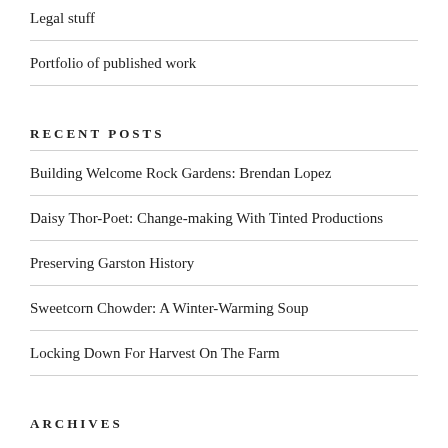Legal stuff
Portfolio of published work
RECENT POSTS
Building Welcome Rock Gardens: Brendan Lopez
Daisy Thor-Poet: Change-making With Tinted Productions
Preserving Garston History
Sweetcorn Chowder: A Winter-Warming Soup
Locking Down For Harvest On The Farm
ARCHIVES